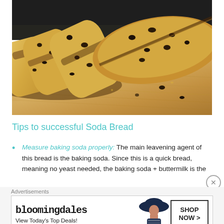[Figure (photo): Photo of sliced soda bread with raisins on a wooden cutting board]
Tips to successful Soda Bread
Measure baking soda properly: The main leavening agent of this bread is the baking soda. Since this is a quick bread, meaning no yeast needed, the baking soda + buttermilk is the